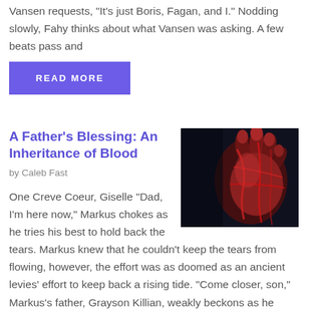Vansen requests, "It's just Boris, Fagan, and I." Nodding slowly, Fahy thinks about what Vansen was asking. A few beats pass and
READ MORE
A Father's Blessing: An Inheritance of Blood
by Caleb Fast
[Figure (photo): Close-up of a bloody hand reaching out against a dark background]
One Creve Coeur, Giselle "Dad, I'm here now," Markus chokes as he tries his best to hold back the tears. Markus knew that he couldn't keep the tears from flowing, however, the effort was as doomed as an ancient levies' effort to keep back a rising tide. "Come closer, son," Markus's father, Grayson Killian, weakly beckons as he reaches outward with a shaky hand. Grayson's hand waves around randomly as he blindly searches for